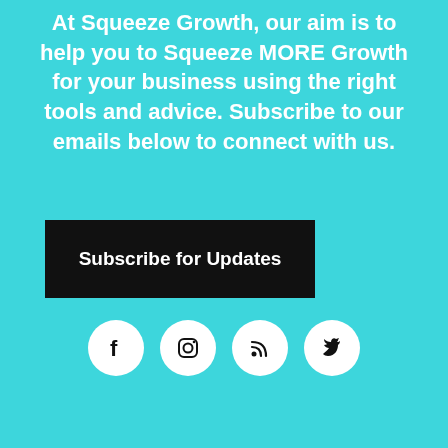At Squeeze Growth, our aim is to help you to Squeeze MORE Growth for your business using the right tools and advice. Subscribe to our emails below to connect with us.
[Figure (other): Black button with white text reading 'Subscribe for Updates']
[Figure (other): Four circular white social media icon buttons: Facebook, Instagram, RSS feed, Twitter]